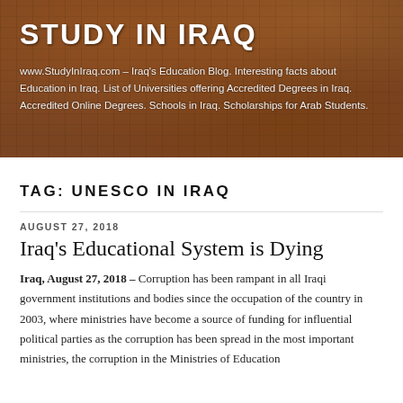[Figure (photo): Decorative wooden carved background banner for Study In Iraq blog header]
STUDY IN IRAQ
www.StudyInIraq.com – Iraq's Education Blog. Interesting facts about Education in Iraq. List of Universities offering Accredited Degrees in Iraq. Accredited Online Degrees. Schools in Iraq. Scholarships for Arab Students.
TAG: UNESCO IN IRAQ
AUGUST 27, 2018
Iraq's Educational System is Dying
Iraq, August 27, 2018 – Corruption has been rampant in all Iraqi government institutions and bodies since the occupation of the country in 2003, where ministries have become a source of funding for influential political parties as the corruption has been spread in the most important ministries, the corruption in the Ministries of Education